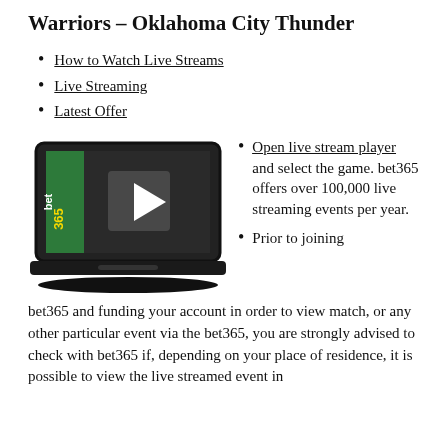Warriors – Oklahoma City Thunder
How to Watch Live Streams
Live Streaming
Latest Offer
[Figure (illustration): Laptop illustration showing bet365 live streaming interface with a play button and green bet365 branding on the left side.]
Open live stream player and select the game. bet365 offers over 100,000 live streaming events per year.
Prior to joining bet365 and funding your account in order to view match, or any other particular event via the bet365, you are strongly advised to check with bet365 if, depending on your place of residence, it is possible to view the live streamed event in
bet365 and funding your account in order to view match, or any other particular event via the bet365, you are strongly advised to check with bet365 if, depending on your place of residence, it is possible to view the live streamed event in